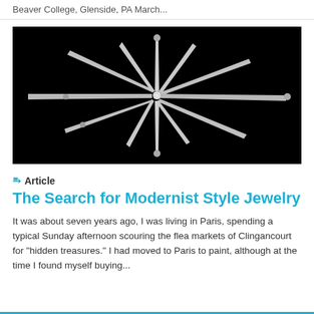Beaver College, Glenside, PA March...
[Figure (photo): Black and white photograph of a modernist sculpture or jewelry piece with radiating elongated spike-like forms extending from a central hub, with small spherical balls at the tips of some spokes, against a black background.]
Article
The Search for Modernist Style Jewelry
It was about seven years ago, I was living in Paris, spending a typical Sunday afternoon scouring the flea markets of Clingancourt for "hidden treasures." I had moved to Paris to paint, although at the time I found myself buying...